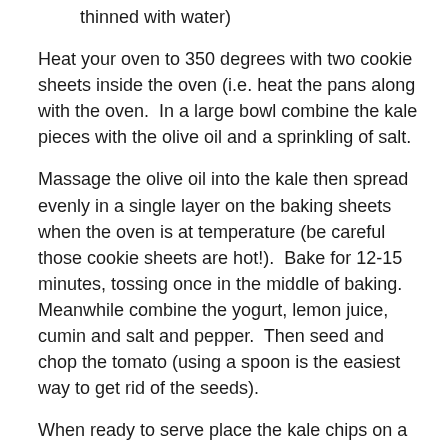thinned with water)
Heat your oven to 350 degrees with two cookie sheets inside the oven (i.e. heat the pans along with the oven.  In a large bowl combine the kale pieces with the olive oil and a sprinkling of salt.
Massage the olive oil into the kale then spread evenly in a single layer on the baking sheets when the oven is at temperature (be careful those cookie sheets are hot!).  Bake for 12-15 minutes, tossing once in the middle of baking.  Meanwhile combine the yogurt, lemon juice, cumin and salt and pepper.  Then seed and chop the tomato (using a spoon is the easiest way to get rid of the seeds).
When ready to serve place the kale chips on a plater and scatter over the chopped tomatoes and dressing. Drizzle